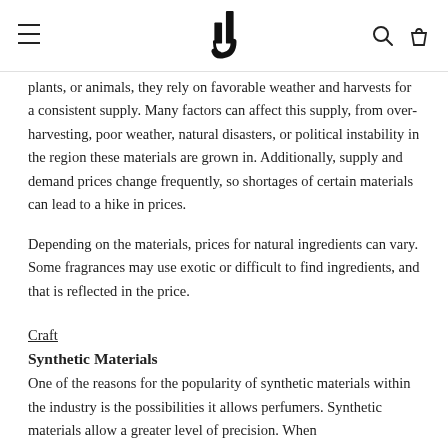≡  [logo]  🔍  🛍
plants, or animals, they rely on favorable weather and harvests for a consistent supply. Many factors can affect this supply, from over-harvesting, poor weather, natural disasters, or political instability in the region these materials are grown in. Additionally, supply and demand prices change frequently, so shortages of certain materials can lead to a hike in prices.
Depending on the materials, prices for natural ingredients can vary. Some fragrances may use exotic or difficult to find ingredients, and that is reflected in the price.
Craft
Synthetic Materials
One of the reasons for the popularity of synthetic materials within the industry is the possibilities it allows perfumers. Synthetic materials allow a greater level of precision. When